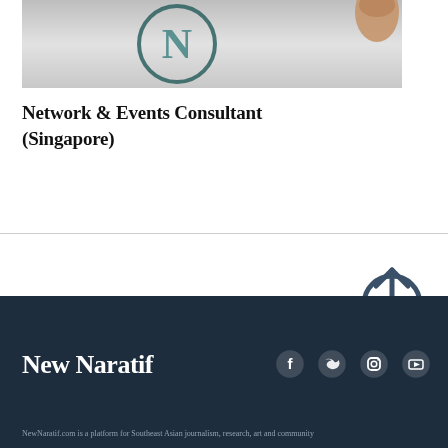[Figure (photo): Partial view of a printed logo with 'N' letter stamp on paper, with a thumb/finger visible at the top right corner. The stamp shows a teal/dark green circular logo.]
Network & Events Consultant (Singapore)
[Figure (other): Scroll-to-top circular arrow icon button in dark teal/slate color]
New Naratif
[Figure (other): Social media icons: Facebook, Twitter, Instagram, YouTube — all white on dark navy background]
NewNaratif.com is a platform for Southeast Asian...